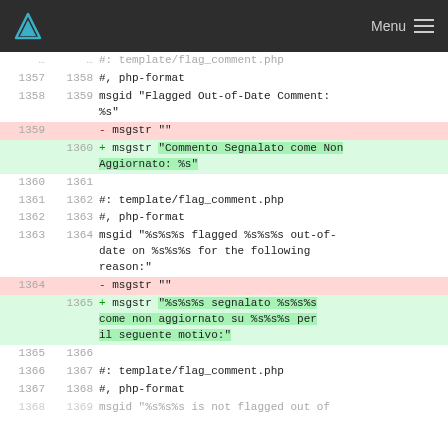Menu
| old | new | code |
| --- | --- | --- |
| 1357 | 1358 | #, php-format |
| 1358 | 1359 | msgid "Flagged Out-of-Date Comment: %s" |
| 1359 |  | - msgstr "" |
|  | 1360 | + msgstr "Commento Segnalato come Non Aggiornato: %s" |
| 1360 | 1361 |  |
| 1361 | 1362 | #: template/flag_comment.php |
| 1362 | 1363 | #, php-format |
| 1363 | 1364 | msgid "%s%s%s flagged %s%s%s out-of-date on %s%s%s for the following reason:" |
| 1364 |  | - msgstr "" |
|  | 1365 | + msgstr "%s%s%s segnalato %s%s%s come non aggiornato su %s%s%s per il seguente motivo:" |
| 1365 | 1366 |  |
| 1366 | 1367 | #: template/flag_comment.php |
| 1367 | 1368 | #, php-format |
| 1368 | 1369 | msgid "%s%s%s is not flagged out of |